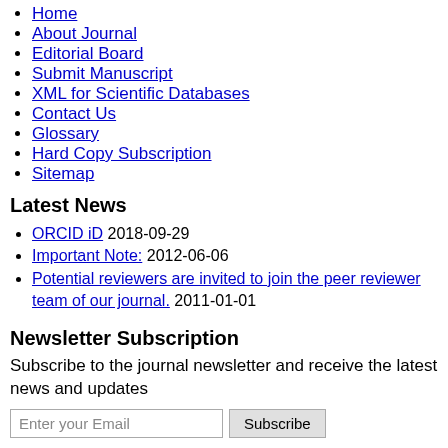Home
About Journal
Editorial Board
Submit Manuscript
XML for Scientific Databases
Contact Us
Glossary
Hard Copy Subscription
Sitemap
Latest News
ORCID iD 2018-09-29
Important Note: 2012-06-06
Potential reviewers are invited to join the peer reviewer team of our journal. 2011-01-01
Newsletter Subscription
Subscribe to the journal newsletter and receive the latest news and updates